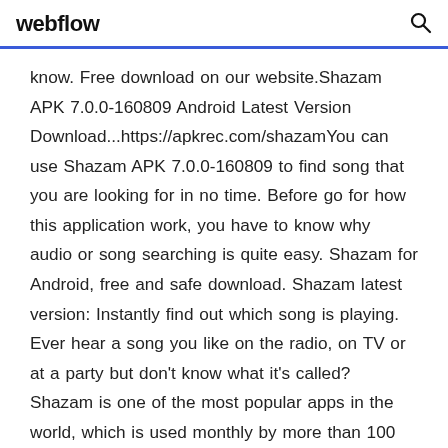webflow
know. Free download on our website.Shazam APK 7.0.0-160809 Android Latest Version Download...https://apkrec.com/shazamYou can use Shazam APK 7.0.0-160809 to find song that you are looking for in no time. Before go for how this application work, you have to know why audio or song searching is quite easy. Shazam for Android, free and safe download. Shazam latest version: Instantly find out which song is playing. Ever hear a song you like on the radio, on TV or at a party but don't know what it's called? Shazam is one of the most popular apps in the world, which is used monthly by more than 100 million people to define the